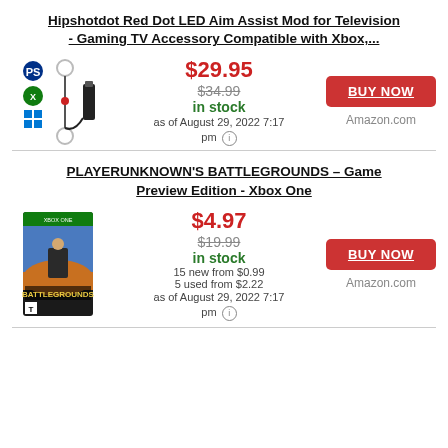Hipshotdot Red Dot LED Aim Assist Mod for Television - Gaming TV Accessory Compatible with Xbox,...
[Figure (photo): Product image showing gaming aim assist device with suction cups, cable, and platform logos (PlayStation, Xbox, Windows)]
$29.95 / $34.99 / in stock / as of August 29, 2022 7:17 pm
BUY NOW / Amazon.com
PLAYERUNKNOWN'S BATTLEGROUNDS – Game Preview Edition - Xbox One
[Figure (photo): Xbox One game case for PLAYERUNKNOWN'S BATTLEGROUNDS Game Preview Edition]
$4.97 / $19.99 / in stock / 15 new from $0.99 / 5 used from $2.22 / as of August 29, 2022 7:17 pm
BUY NOW / Amazon.com